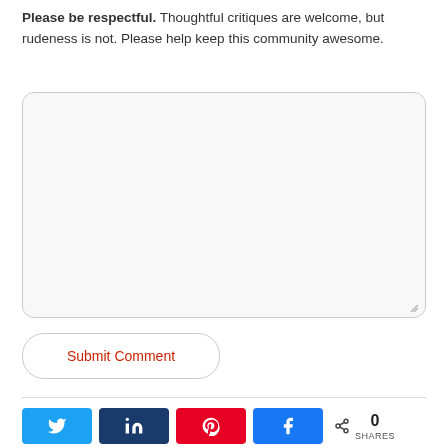Please be respectful. Thoughtful critiques are welcome, but rudeness is not. Please help keep this community awesome.
[Figure (screenshot): Empty comment textarea input box with rounded corners and light gray background]
[Figure (screenshot): Submit Comment button with rounded pill shape, red text, white background with gray border]
[Figure (screenshot): Social sharing bar with Twitter, LinkedIn, Pinterest, Facebook buttons and a share count showing 0 SHARES]